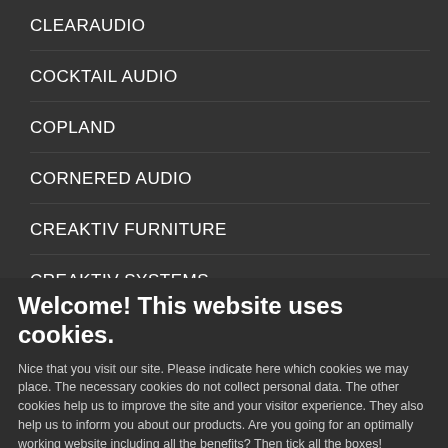CLEARAUDIO
COCKTAIL AUDIO
COPLAND
CORNERED AUDIO
CREAKTIV FURNITURE
CREAKTIV SYSTEMS
CREEK AUDIO
Welcome! This website uses cookies.
Nice that you visit our site. Please indicate here which cookies we may place. The necessary cookies do not collect personal data. The other cookies help us to improve the site and your visitor experience. They also help us to inform you about our products. Are you going for an optimally working website including all the benefits? Then tick all the boxes!
Necessary  Preferences  Statistics  Marketing  Save